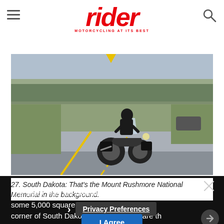rider — MOTORCYCLING AT ITS BEST
[Figure (photo): Motorcyclist riding a touring motorcycle on a highway with green grass roadside and Mount Rushmore National Memorial visible in the background under a cloudy sky.]
27. South Dakota: That's the Mount Rushmore National Memorial in the background.
The Black Hills are definitely worth having a look at covering some 5,000 square miles in the southwest corner of South Dakota. If you like to share th
Privacy Preferences
I Agree